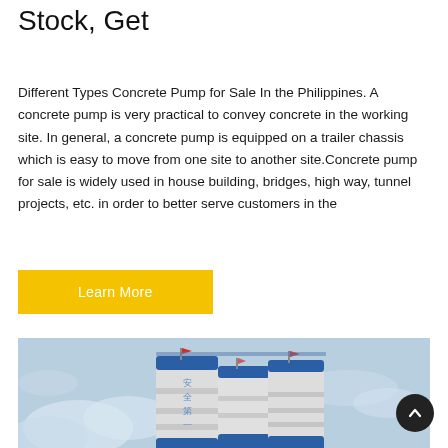Stock, Get
Different Types Concrete Pump for Sale In the Philippines. A concrete pump is very practical to convey concrete in the working site. In general, a concrete pump is equipped on a trailer chassis which is easy to move from one site to another site.Concrete pump for sale is widely used in house building, bridges, high way, tunnel projects, etc. in order to better serve customers in the
[Figure (other): Yellow 'Learn More' button]
[Figure (photo): Industrial cement silos (blue and grey) with red flags on top, against a cloudy sky. Chinese characters visible on the largest silo. Industrial equipment and scaffolding at base.]